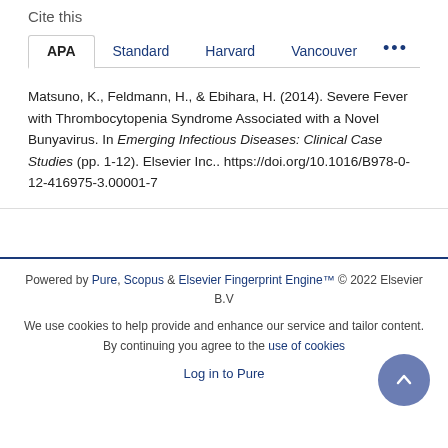Cite this
APA   Standard   Harvard   Vancouver   ...
Matsuno, K., Feldmann, H., & Ebihara, H. (2014). Severe Fever with Thrombocytopenia Syndrome Associated with a Novel Bunyavirus. In Emerging Infectious Diseases: Clinical Case Studies (pp. 1-12). Elsevier Inc.. https://doi.org/10.1016/B978-0-12-416975-3.00001-7
Powered by Pure, Scopus & Elsevier Fingerprint Engine™ © 2022 Elsevier B.V
We use cookies to help provide and enhance our service and tailor content. By continuing you agree to the use of cookies
Log in to Pure